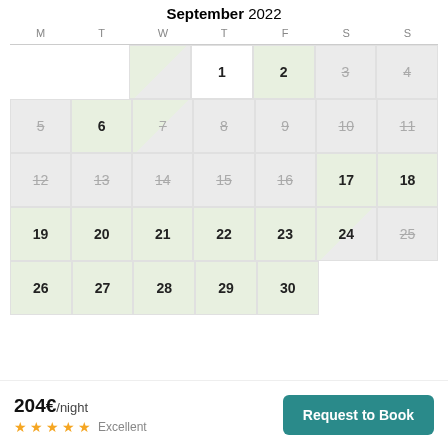September 2022
| M | T | W | T | F | S | S |
| --- | --- | --- | --- | --- | --- | --- |
|  |  |  | 1 | 2 | 3 | 4 |
| 5 | 6 | 7 | 8 | 9 | 10 | 11 |
| 12 | 13 | 14 | 15 | 16 | 17 | 18 |
| 19 | 20 | 21 | 22 | 23 | 24 | 25 |
| 26 | 27 | 28 | 29 | 30 |  |  |
204€/night
★★★★★ Excellent
Request to Book